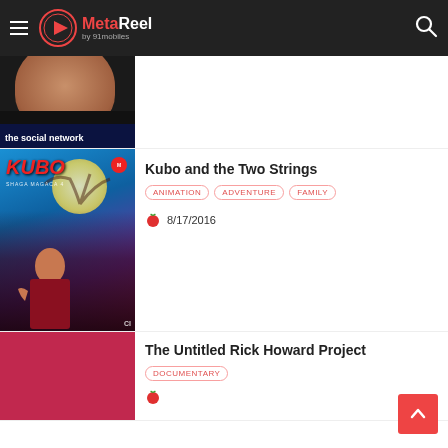MetaReel by 91mobiles
[Figure (screenshot): Partial movie card for The Social Network - showing a cropped face thumbnail and 'the social network' label]
Kubo and the Two Strings
ANIMATION  ADVENTURE  FAMILY
8/17/2016
The Untitled Rick Howard Project
DOCUMENTARY